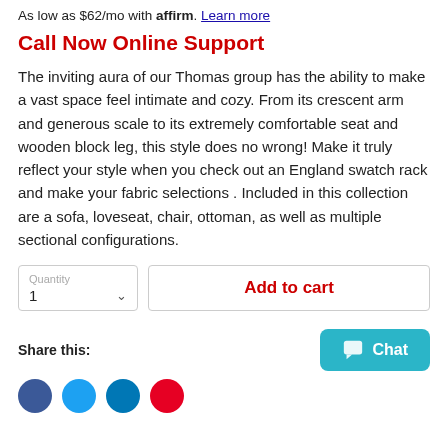As low as $62/mo with affirm. Learn more
Call Now Online Support
The inviting aura of our Thomas group has the ability to make a vast space feel intimate and cozy. From its crescent arm and generous scale to its extremely comfortable seat and wooden block leg, this style does no wrong! Make it truly reflect your style when you check out an England swatch rack and make your fabric selections . Included in this collection are a sofa, loveseat, chair, ottoman, as well as multiple sectional configurations.
Quantity 1 — Add to cart
Share this:
[Figure (other): Chat button (teal/cyan rounded rectangle with chat icon and text 'Chat')]
[Figure (other): Social sharing icons: Facebook (blue), Twitter (light blue), LinkedIn (dark blue), Pinterest (red)]